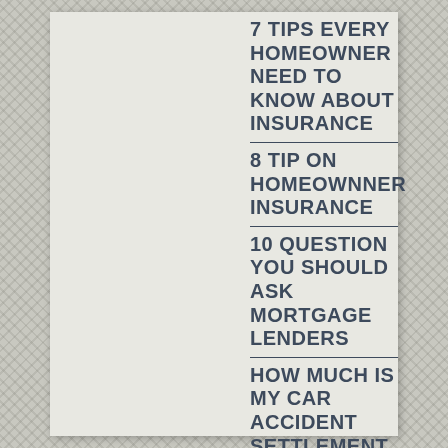7 TIPS EVERY HOMEOWNER NEED TO KNOW ABOUT INSURANCE
8 TIP ON HOMEOWNNER INSURANCE
10 QUESTION YOU SHOULD ASK MORTGAGE LENDERS
HOW MUCH IS MY CAR ACCIDENT SETTLEMENT WORTH
200 BUSINESS MOVEMENT NEWS
150 FINANCIAL TIP YOU